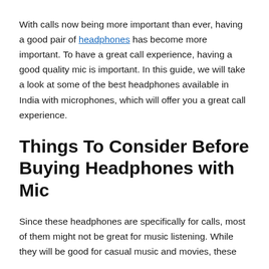With calls now being more important than ever, having a good pair of headphones has become more important. To have a great call experience, having a good quality mic is important. In this guide, we will take a look at some of the best headphones available in India with microphones, which will offer you a great call experience.
Things To Consider Before Buying Headphones with Mic
Since these headphones are specifically for calls, most of them might not be great for music listening. While they will be good for casual music and movies, these might not impress audiophiles. Also, in this article...